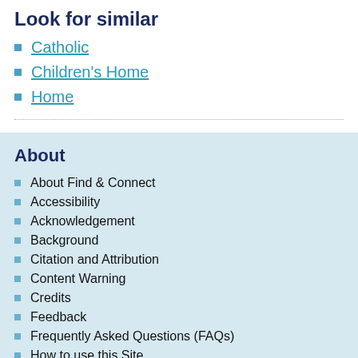Look for similar
Catholic
Children's Home
Home
About
About Find & Connect
Accessibility
Acknowledgement
Background
Citation and Attribution
Content Warning
Credits
Feedback
Frequently Asked Questions (FAQs)
How to use this Site
Policies